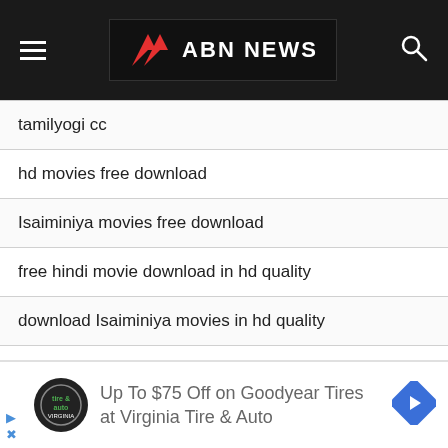ABN NEWS
tamilyogi cc
hd movies free download
Isaiminiya movies free download
free hindi movie download in hd quality
download Isaiminiya movies in hd quality
hindi movie song
telugu wap net movies
watch hindi movies online
Isaiminiya movies online
Up To $75 Off on Goodyear Tires at Virginia Tire & Auto